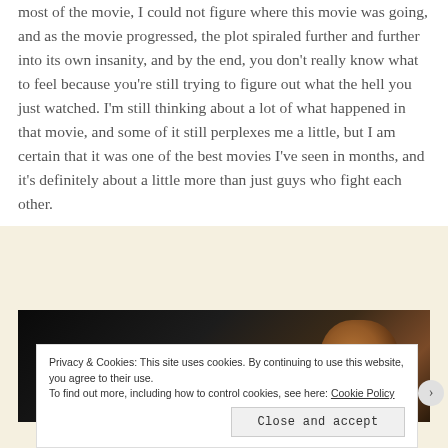most of the movie, I could not figure where this movie was going, and as the movie progressed, the plot spiraled further and further into its own insanity, and by the end, you don't really know what to feel because you're still trying to figure out what the hell you just watched. I'm still thinking about a lot of what happened in that movie, and some of it still perplexes me a little, but I am certain that it was one of the best movies I've seen in months, and it's definitely about a little more than just guys who fight each other.
[Figure (photo): Dark movie still showing a dimly lit scene with a person's face partially illuminated in warm amber/orange tones against a very dark background]
Privacy & Cookies: This site uses cookies. By continuing to use this website, you agree to their use.
To find out more, including how to control cookies, see here: Cookie Policy